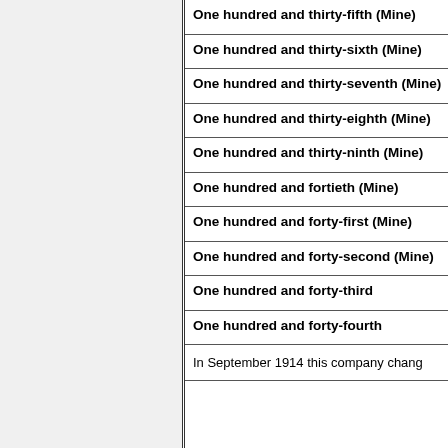One hundred and thirty-fifth (Mine)
One hundred and thirty-sixth (Mine)
One hundred and thirty-seventh (Mine)
One hundred and thirty-eighth (Mine)
One hundred and thirty-ninth (Mine)
One hundred and fortieth (Mine)
One hundred and forty-first (Mine)
One hundred and forty-second (Mine)
One hundred and forty-third
One hundred and forty-fourth
In September 1914 this company chang